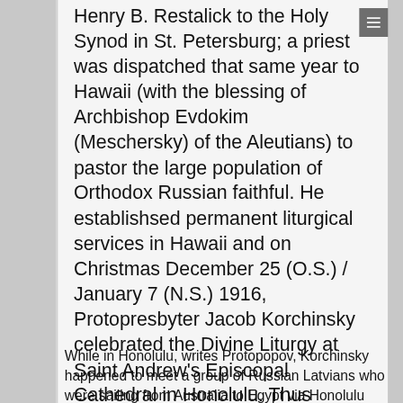Henry B. Restalick to the Holy Synod in St. Petersburg; a priest was dispatched that same year to Hawaii (with the blessing of Archbishop Evdokim (Meschersky) of the Aleutians) to pastor the large population of Orthodox Russian faithful. He establishsed permanent liturgical services in Hawaii and on Christmas December 25 (O.S.) / January 7 (N.S.) 1916, Protopresbyter Jacob Korchinsky celebrated the Divine Liturgy at Saint Andrew's Episcopal Cathedral in Honolulu. Thus Orthodoxy was re-established in Hawaii.
While in Honolulu, writes Protopopov, Korchinsky happened to meet a group of Russian Latvians who were sailing from Australia to Egypt via Honolulu and the